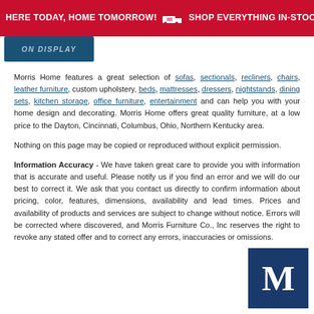HERE TODAY, HOME TOMORROW! SHOP EVERYTHING IN-STOCK
[Figure (logo): Morris Home logo in dark blue banner]
Morris Home features a great selection of sofas, sectionals, recliners, chairs, leather furniture, custom upholstery, beds, mattresses, dressers, nightstands, dining sets, kitchen storage, office furniture, entertainment and can help you with your home design and decorating. Morris Home offers great quality furniture, at a low price to the Dayton, Cincinnati, Columbus, Ohio, Northern Kentucky area.
Nothing on this page may be copied or reproduced without explicit permission.
Information Accuracy - We have taken great care to provide you with information that is accurate and useful. Please notify us if you find an error and we will do our best to correct it. We ask that you contact us directly to confirm information about pricing, color, features, dimensions, availability and lead times. Prices and availability of products and services are subject to change without notice. Errors will be corrected where discovered, and Morris Furniture Co., Inc reserves the right to revoke any stated offer and to correct any errors, inaccuracies or omissions.
[Figure (logo): Morris Furniture M logo in dark blue square]